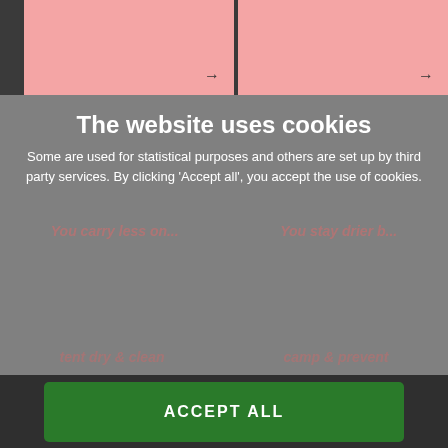[Figure (screenshot): Two pink cards with right-arrow icons visible at the top of the page behind the cookie consent overlay]
The website uses cookies
Some are used for statistical purposes and others are set up by third party services. By clicking 'Accept all', you accept the use of cookies.
ACCEPT ALL
DECLINE ALL
Strictly necessary
Functional
Statistical
Marketing
SHOW DETAILS